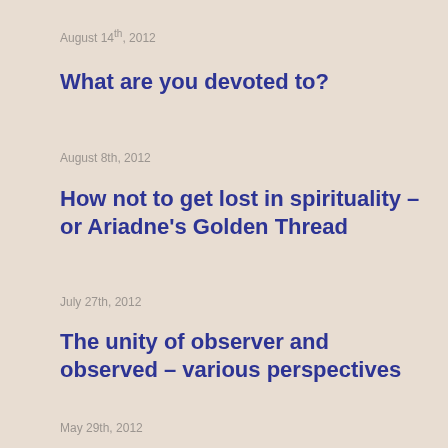August 14th, 2012
What are you devoted to?
August 8th, 2012
How not to get lost in spirituality – or Ariadne's Golden Thread
July 27th, 2012
The unity of observer and observed – various perspectives
May 29th, 2012